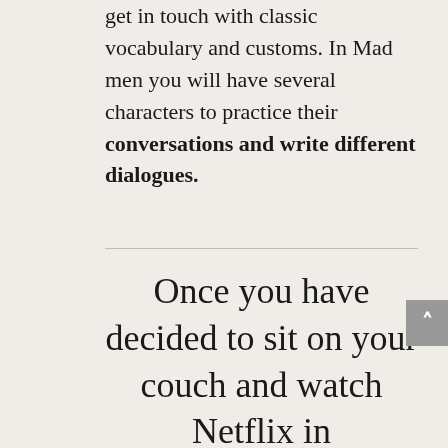get in touch with classic vocabulary and customs. In Mad men you will have several characters to practice their conversations and write different dialogues.
Once you have decided to sit on your couch and watch Netflix in